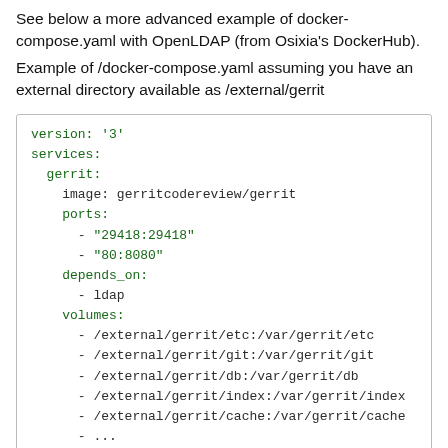See below a more advanced example of docker-compose.yaml with OpenLDAP (from Osixia's DockerHub).
Example of /docker-compose.yaml assuming you have an external directory available as /external/gerrit
[Figure (screenshot): Code block showing a docker-compose.yaml YAML configuration with version '3', services section including gerrit service with image, ports, depends_on, and volumes entries.]